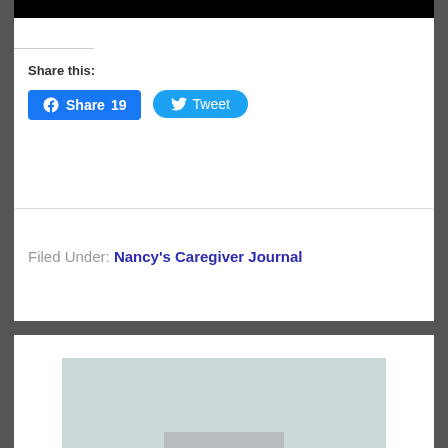[Figure (photo): Black bar at top of page (partial image crop)]
Share this:
[Figure (infographic): Facebook Share 19 button (blue rounded rectangle with Facebook icon)]
[Figure (infographic): Tweet button (blue pill-shaped with Twitter bird icon)]
Filed Under: Nancy's Caregiver Journal
[Figure (photo): Partial photo at bottom, light blue-grey background with a darker bar element at the bottom center]